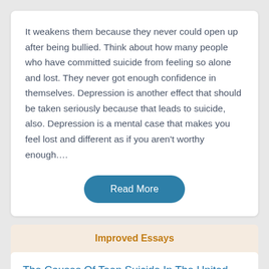It weakens them because they never could open up after being bullied. Think about how many people who have committed suicide from feeling so alone and lost. They never got enough confidence in themselves. Depression is another effect that should be taken seriously because that leads to suicide, also. Depression is a mental case that makes you feel lost and different as if you aren't worthy enough.…
Read More
Improved Essays
The Causes Of Teen Suicide In The United States